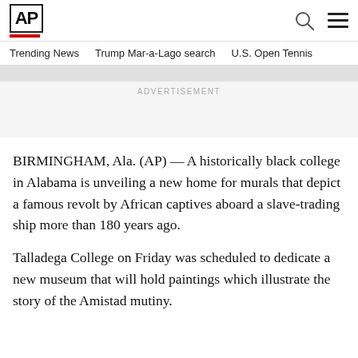AP
Trending News   Trump Mar-a-Lago search   U.S. Open Tennis
ADVERTISEMENT
BIRMINGHAM, Ala. (AP) — A historically black college in Alabama is unveiling a new home for murals that depict a famous revolt by African captives aboard a slave-trading ship more than 180 years ago.
Talladega College on Friday was scheduled to dedicate a new museum that will hold paintings which illustrate the story of the Amistad mutiny.